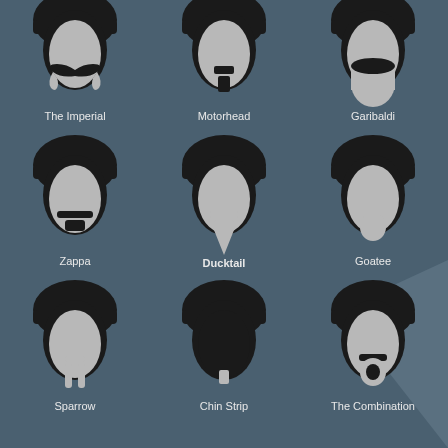[Figure (infographic): 9 illustrated beard style icons, each showing a soldier helmet silhouette with a different beard style in grey, labeled with the beard style name. Styles: The Imperial, Motorhead, Garibaldi, Zappa, Ducktail, Goatee, Sparrow, Chin Strip, The Combination.]